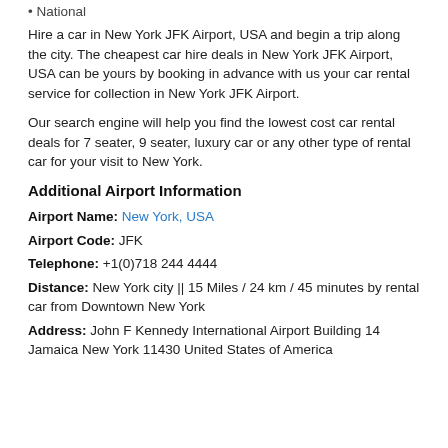National
Hire a car in New York JFK Airport, USA and begin a trip along the city. The cheapest car hire deals in New York JFK Airport, USA can be yours by booking in advance with us your car rental service for collection in New York JFK Airport.
Our search engine will help you find the lowest cost car rental deals for 7 seater, 9 seater, luxury car or any other type of rental car for your visit to New York.
Additional Airport Information
Airport Name: New York, USA
Airport Code: JFK
Telephone: +1(0)718 244 4444
Distance: New York city || 15 Miles / 24 km / 45 minutes by rental car from Downtown New York
Address: John F Kennedy International Airport Building 14 Jamaica New York 11430 United States of America